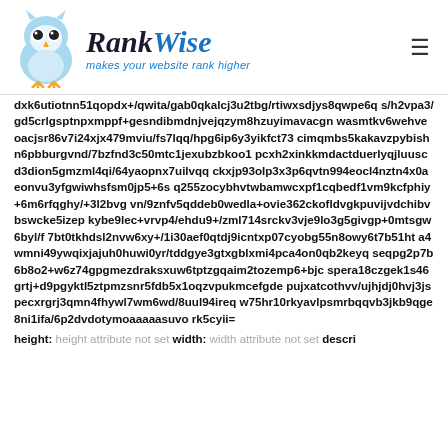RankWise — makes your website rank higher
dxk6utiotnn51qopdx+/qwita/gab0qkalcj3u2tbg/rtiwxsdjys8qwpe6qs/h2vpa3/gd5crlgsptnpxmppf+gesndibmdnjvejqzym8hzuyimavacgnwasmtkv6wehveoacjsr86v7i24xjx479mviu/fs7lqq/hpg6ip6y3yikfct73cimqmbs5kakavzpybishn6pbburgvnd/7bzfnd3c50mtc1jexubzbkoo1pcxh2xinkkmdactduerlyqjluuscd3dion5gmzml4qi/64yaopnx7uilvqqckxjp93olp3x3p6qvtn994eocl4nztn4x0aeonvu3yfgwiwhsfsm0jp5+6sq255zocybhvtwbamwcxpf1cqbedf1vm9kcfphiy+6m6rfqghy/+3l2bvgvn/9znfv5qddeb0wedla+ovie362ckofldvgkpuvijvdchibvbswcke5izepkybe9lec+vrvp4/ehdu9+/zml714srckv3vje9lo3g5givgp+0mtsgw6byl/f7bt0tkhdsl2nvw6xy+/1i30aef0qtdj9icntxp07cyobg55n8owy6t7b51hta4wmni49ywqixjajuh0huwi0yr/tddgye3gtxgblxmi4pca4on0qb2keyqseqpg2p7b6b8o2+w6z74gpgmezdraksxuw6tptzgqaim2tozemp6+bjcspera18czgek1s46grtj+d9pgyktl5ztpmzsnr5fdb5x1oqzvpukmcefgdepujxatcothvv/ujhjdj0hvj3jspecxrgrj3qmn4fhywl7wm6wd/8uul94ireqw75hr10rkyavlpsmrbqqvb3jkb9qge8ni1ifa/6p2dvdotymoaaaaasuvork5cyii=
height: height attribute not set width: width attribute not set descri